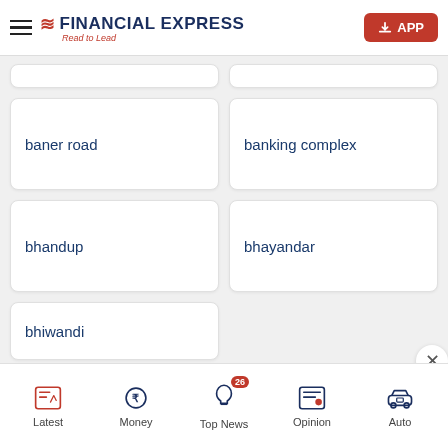Financial Express — Read to Lead
baner road
banking complex
bhandup
bhayandar
bhiwandi
LOAD MORE
Latest | Money | Top News (26) | Opinion | Auto